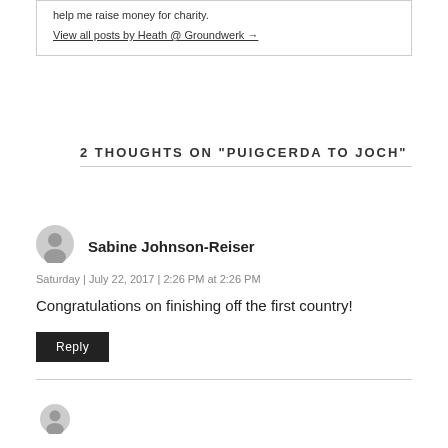help me raise money for charity.
View all posts by Heath @ Groundwerk →
2 THOUGHTS ON "PUIGCERDA TO JOCH"
[Figure (illustration): Circular grey avatar/user icon for commenter Sabine Johnson-Reiser]
Sabine Johnson-Reiser
Saturday | July 22, 2017 | 2:26 PM at 2:26 PM
Congratulations on finishing off the first country!
Reply
[Figure (illustration): Partial circular grey avatar/user icon at bottom of page]